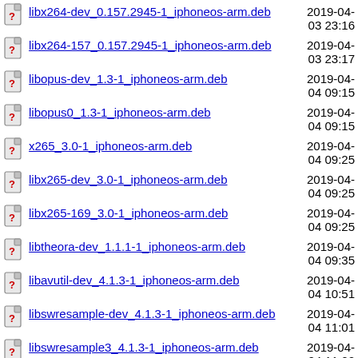libx264-dev_0.157.2945-1_iphoneos-arm.deb  2019-04-03 23:16
libx264-157_0.157.2945-1_iphoneos-arm.deb  2019-04-03 23:17
libopus-dev_1.3-1_iphoneos-arm.deb  2019-04-04 09:15
libopus0_1.3-1_iphoneos-arm.deb  2019-04-04 09:15
x265_3.0-1_iphoneos-arm.deb  2019-04-04 09:25
libx265-dev_3.0-1_iphoneos-arm.deb  2019-04-04 09:25
libx265-169_3.0-1_iphoneos-arm.deb  2019-04-04 09:25
libtheora-dev_1.1.1-1_iphoneos-arm.deb  2019-04-04 09:35
libavutil-dev_4.1.3-1_iphoneos-arm.deb  2019-04-04 10:51
libswresample-dev_4.1.3-1_iphoneos-arm.deb  2019-04-04 11:01
libswresample3_4.1.3-1_iphoneos-arm.deb  2019-04-04 11:02
2019-04-